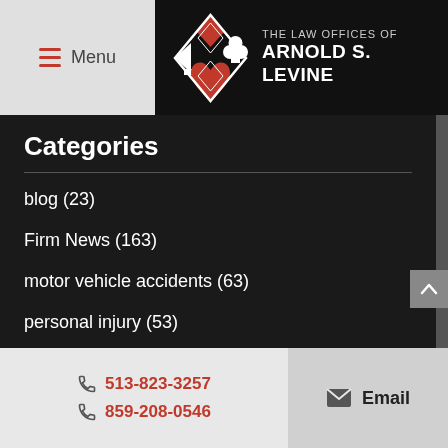Menu | THE LAW OFFICES OF ARNOLD S. LEVINE
Categories
blog (23)
Firm News (163)
motor vehicle accidents (63)
personal injury (53)
social security disability (39)
Uncategorized (6)
workers' compensation (21)
513-823-3257 | 859-208-0546 | Email